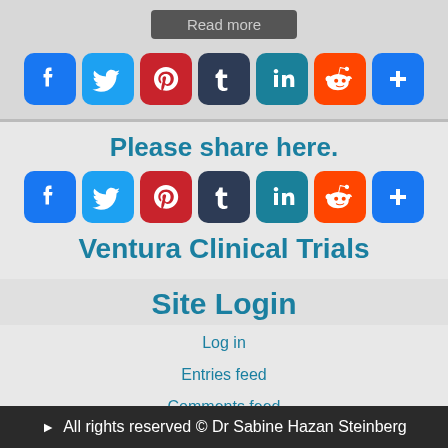[Figure (other): Read more button at top]
[Figure (other): Row of social sharing icons: Facebook, Twitter, Pinterest, Tumblr, LinkedIn, Reddit, Share+]
Please share here.
[Figure (other): Row of social sharing icons: Facebook, Twitter, Pinterest, Tumblr, LinkedIn, Reddit, Share+]
Ventura Clinical Trials
Site Login
Log in
Entries feed
Comments feed
WordPress.org
▶ All rights reserved © Dr Sabine Hazan Steinberg